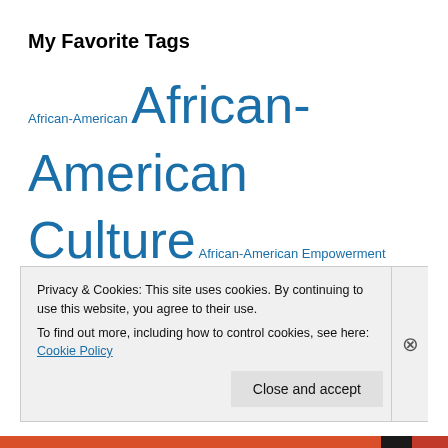My Favorite Tags
African-American African-American Culture African-American Empowerment Network African Ameican Culture African American Alexander Payne Alexander Payne: His Journey in Film Art Arts Athletics Author Authors Authors/Books/Literature Books Boxing Business Cinema Civil Rights Community Creighton University Education Entertainment
Privacy & Cookies: This site uses cookies. By continuing to use this website, you agree to their use.
To find out more, including how to control cookies, see here: Cookie Policy
Close and accept